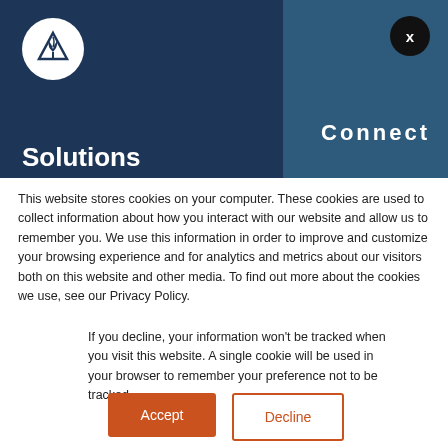[Figure (logo): White circular logo with a tree/plant icon inside on dark navy blue header background]
Connect
Solutions
This website stores cookies on your computer. These cookies are used to collect information about how you interact with our website and allow us to remember you. We use this information in order to improve and customize your browsing experience and for analytics and metrics about our visitors both on this website and other media. To find out more about the cookies we use, see our Privacy Policy.
If you decline, your information won't be tracked when you visit this website. A single cookie will be used in your browser to remember your preference not to be tracked.
Accept
Decline